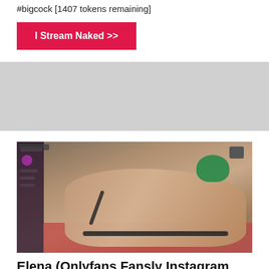#bigcock [1407 tokens remaining]
I Stream Naked >>
[Figure (photo): Screenshot of a webcam stream showing a person with green hair on a bed with red fabric, wearing black lingerie, with a dark UI overlay panel on the left side of the screen and a small black speaker/device visible in the upper right.]
Elena (Onlyfans Fansly Instagram